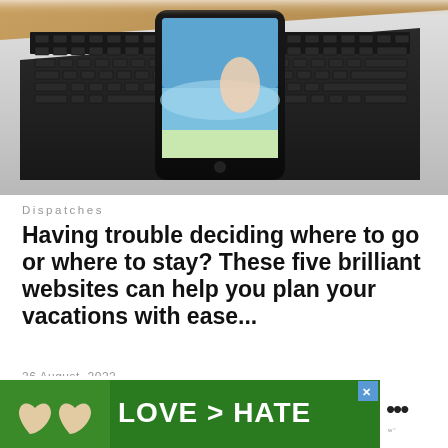[Figure (photo): A smartphone resting on a laptop keyboard on a wooden desk. The phone screen shows a beach/ocean scene. The laptop has a dark keyboard.]
Dispatches
Having trouble deciding where to go or where to stay? These five brilliant websites can help you plan your vacations with ease...
26 August, 2022
Are you having trouble deciding where to go, when, where to stay, or how to get there when planning your next vacation? These
[Figure (other): Advertisement banner with green background showing text 'LOVE > HATE' in large white bold letters, with hands making a heart shape on the left, a blue close button (X) in the top right corner, and a logo with dots on the far right.]